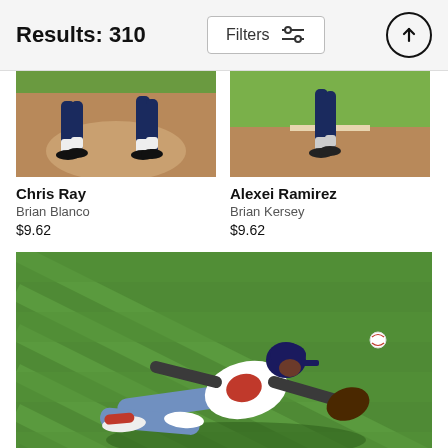Results: 310
[Figure (photo): Cropped baseball photo showing player legs/feet on dirt infield — Chris Ray photo by Brian Blanco]
Chris Ray
Brian Blanco
$9.62
[Figure (photo): Cropped baseball photo showing player legs/feet on dirt infield — Alexei Ramirez photo by Brian Kersey]
Alexei Ramirez
Brian Kersey
$9.62
[Figure (photo): Baseball outfielder sliding/diving on green grass field attempting to catch ball with glove outstretched]